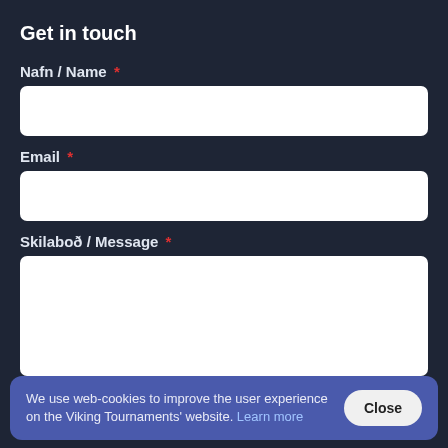Get in touch
Nafn / Name *
Email *
Skilaboð / Message *
We use web-cookies to improve the user experience on the Viking Tournaments' website. Learn more